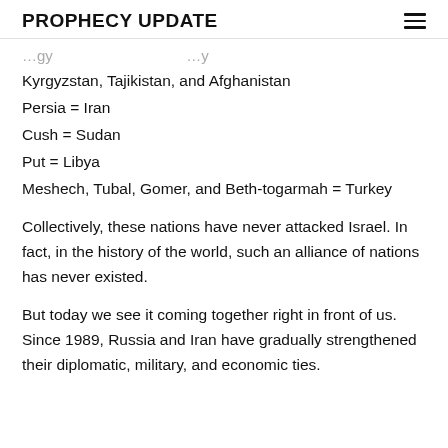PROPHECY UPDATE
…gy … … … …y
Kyrgyzstan, Tajikistan, and Afghanistan
Persia = Iran
Cush = Sudan
Put = Libya
Meshech, Tubal, Gomer, and Beth-togarmah = Turkey
Collectively, these nations have never attacked Israel. In fact, in the history of the world, such an alliance of nations has never existed.
But today we see it coming together right in front of us. Since 1989, Russia and Iran have gradually strengthened their diplomatic, military, and economic ties.